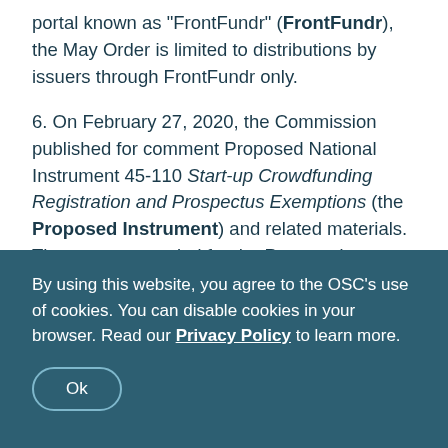portal known as "FrontFundr" (FrontFundr), the May Order is limited to distributions by issuers through FrontFundr only.

6. On February 27, 2020, the Commission published for comment Proposed National Instrument 45-110 Start-up Crowdfunding Registration and Prospectus Exemptions (the Proposed Instrument) and related materials. The comment period for the Proposed Instrument ended on July 13, 2020. This Order is intended to provide interim relief until such time as the Canadian Securities Administrators have had an opportunity to consider comments, finalize and, subject
By using this website, you agree to the OSC's use of cookies. You can disable cookies in your browser. Read our Privacy Policy to learn more.
Ok